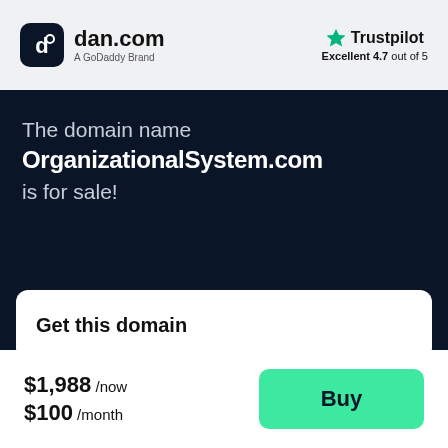[Figure (logo): dan.com logo — dark rounded square icon with stylized 'd' letterform, followed by 'dan.com' in bold and 'A GoDaddy Brand' subtitle]
[Figure (logo): Trustpilot logo with green star icon, 'Trustpilot' text, and 'Excellent 4.7 out of 5' rating text]
The domain name
OrganizationalSystem.com
is for sale!
Get this domain
$1,988 /now
$100 /month
Buy